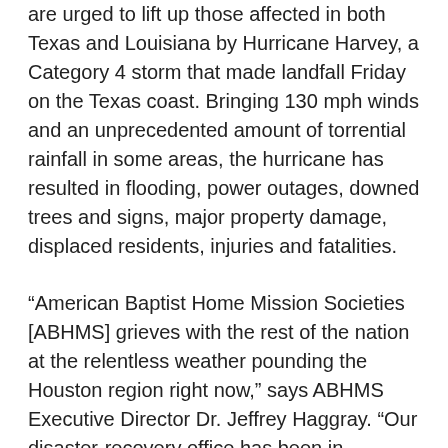are urged to lift up those affected in both Texas and Louisiana by Hurricane Harvey, a Category 4 storm that made landfall Friday on the Texas coast. Bringing 130 mph winds and an unprecedented amount of torrential rainfall in some areas, the hurricane has resulted in flooding, power outages, downed trees and signs, major property damage, displaced residents, injuries and fatalities.
“American Baptist Home Mission Societies [ABHMS] grieves with the rest of the nation at the relentless weather pounding the Houston region right now,” says ABHMS Executive Director Dr. Jeffrey Haggray. “Our disaster-recovery office has been in communication with American Baptist Churches of the South since Friday, before the weather hit.
“As soon as we receive damage assessments, we will